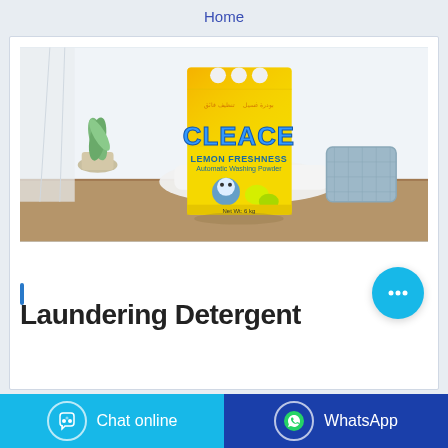Home
[Figure (photo): Product photo of a yellow Cleace Lemon Freshness laundry detergent powder bag on a wooden surface, with white cloth and basket in background]
Laundering Detergent
Chat online
WhatsApp